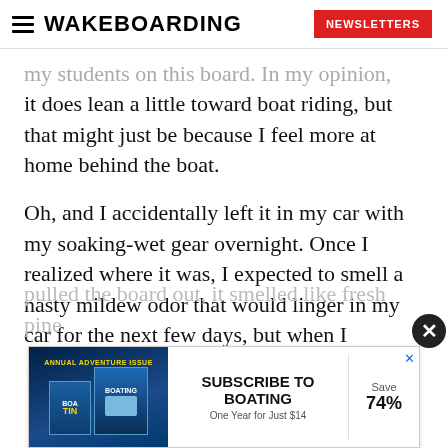WAKEBOARDING | NEWSLETTERS
my students on this board. In my opinion, it does lean a little toward boat riding, but that might just be because I feel more at home behind the boat.
Oh, and I accidentally left it in my car with my soaking-wet gear overnight. Once I realized where it was, I expected to smell a nasty mildew odor that would linger in my car for the next few days, but when I
pulled the board out, it smelled like fresh pine
[Figure (screenshot): Advertisement banner: Subscribe to Boating magazine. 'One Year for Just $14', Save 74%. Shows Boating magazine covers. Has close X button and ad X button.]